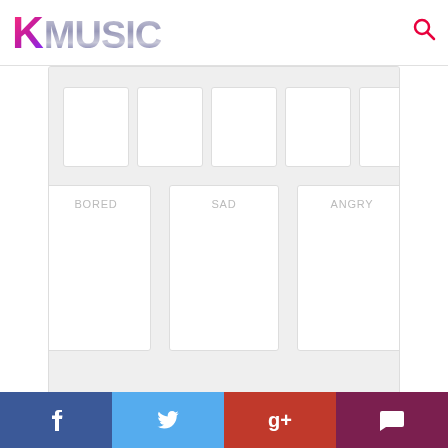KMUSIC
[Figure (screenshot): Mood widget with emotion cards labeled BORED, SAD, ANGRY plus partial top row cards on gray background]
SHARE THIS:
[Figure (infographic): Twitter and Facebook share buttons (circular blue icons)]
COMMENTS
comments
[Figure (infographic): Bottom share bar with Facebook, Twitter, Google+, and chat icons]